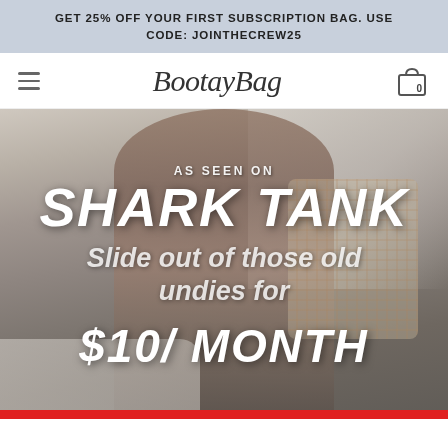GET 25% OFF YOUR FIRST SUBSCRIPTION BAG. USE CODE: JOINTHECREW25
BootayBag
[Figure (photo): Hero image of a woman smiling, wearing a navy bralette and underwear with an open plaid shirt, overlaid with promotional text: AS SEEN ON SHARK TANK, Slide out of those old undies for $10/MONTH]
AS SEEN ON
SHARK TANK
Slide out of those old undies for
$10/ MONTH